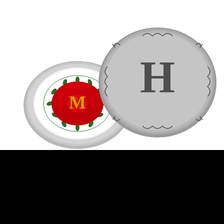[Figure (photo): Two decorative stone paperweights on white background. Left stone is round/oval with a red rose illustration and gold letter M with green leaf wreath border. Right stone is larger, round, gray with engraved letter H and decorative scroll border.]
FIND ME ELSEWHERE...
Darrah Glass Facebook
Darrah Glass @ Amazon